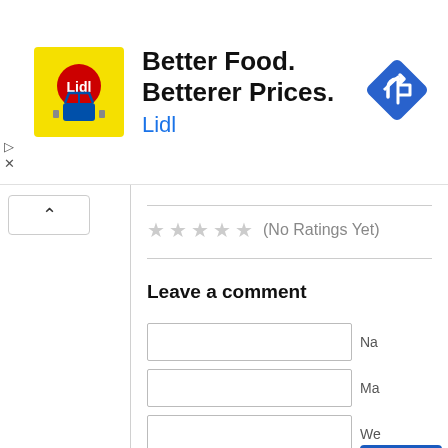[Figure (screenshot): Lidl advertisement banner with yellow logo, text 'Better Food. Betterer Prices. Lidl', and a blue navigation/directions icon on the right.]
▷ ✕
[Figure (screenshot): Web page section showing a star rating area '(No Ratings Yet)', a 'Leave a comment' heading, and three input fields (Name, Mail, Website) with a blue upload/submit button.]